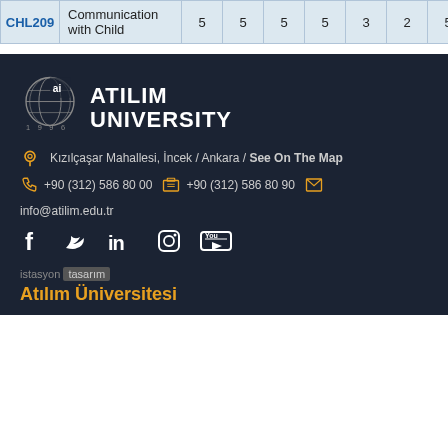| Code | Name |  |  |  |  |  |  |  |  |
| --- | --- | --- | --- | --- | --- | --- | --- | --- | --- |
| CHL209 | Communication with Child | 5 | 5 | 5 | 5 | 3 | 2 | 5 | 4 |
[Figure (logo): Atılım University logo: circular globe icon with red crescent, text ATILIM UNIVERSITY, year 1996]
Kızılçaşar Mahallesi, İncek / Ankara / See On The Map
+90 (312) 586 80 00  +90 (312) 586 80 90  info@atilim.edu.tr
[Figure (infographic): Social media icons: Facebook, Twitter, LinkedIn, Instagram, YouTube]
istasyon tasarım
Atılım Üniversitesi